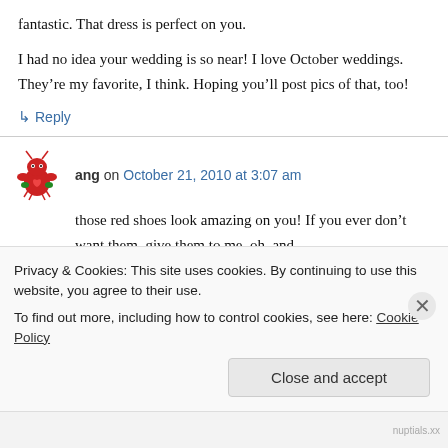fantastic. That dress is perfect on you.
I had no idea your wedding is so near! I love October weddings. They’re my favorite, I think. Hoping you’ll post pics of that, too!
↵ Reply
ang on October 21, 2010 at 3:07 am
those red shoes look amazing on you! If you ever don’t want them, give them to me, oh, and
Privacy & Cookies: This site uses cookies. By continuing to use this website, you agree to their use.
To find out more, including how to control cookies, see here: Cookie Policy
Close and accept